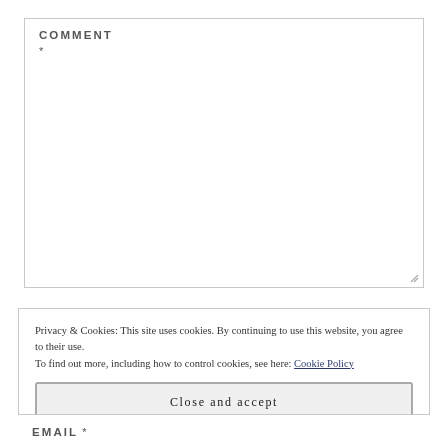COMMENT
*
Privacy & Cookies: This site uses cookies. By continuing to use this website, you agree to their use.
To find out more, including how to control cookies, see here: Cookie Policy
Close and accept
EMAIL *